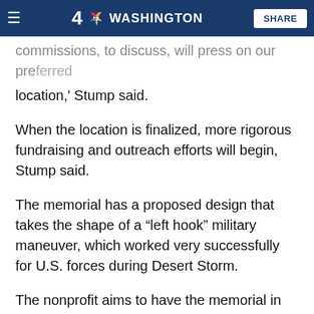4 NBC WASHINGTON | SHARE
commissions, to discuss, will press on our preferred location,' Stump said.
When the location is finalized, more rigorous fundraising and outreach efforts will begin, Stump said.
The memorial has a proposed design that takes the shape of a “left hook” military maneuver, which worked very successfully for U.S. forces during Desert Storm.
The nonprofit aims to have the memorial in place by 2020 or, at the latest, 2021 — a year that would mark 30 years since the war.
The post DC's Operation Desert Storm memorial receives $100K donation appeared first on WTOP.